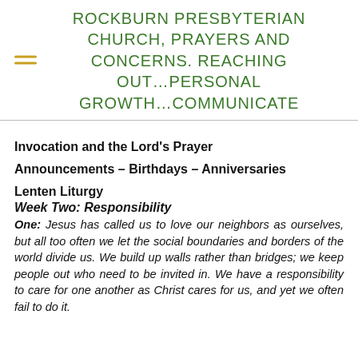ROCKBURN PRESBYTERIAN CHURCH, PRAYERS AND CONCERNS. REACHING OUT…PERSONAL GROWTH…COMMUNICATE
Invocation and the Lord's Prayer
Announcements – Birthdays – Anniversaries
Lenten Liturgy
Week Two: Responsibility
One: Jesus has called us to love our neighbors as ourselves, but all too often we let the social boundaries and borders of the world divide us. We build up walls rather than bridges; we keep people out who need to be invited in. We have a responsibility to care for one another as Christ cares for us, and yet we often fail to do it.